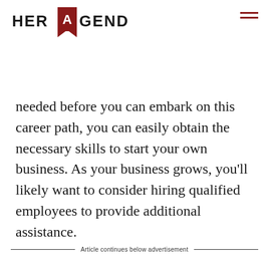[Figure (logo): Her Agenda logo with red bookmark/letter A icon and bold sans-serif text]
needed before you can embark on this career path, you can easily obtain the necessary skills to start your own business. As your business grows, you’ll likely want to consider hiring qualified employees to provide additional assistance.
Article continues below advertisement